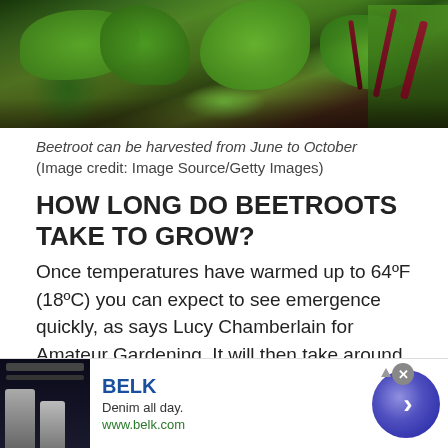[Figure (photo): Close-up photo of beetroot plants with green leaves and dark red stems growing in a garden]
Beetroot can be harvested from June to October
(Image credit: Image Source/Getty Images)
HOW LONG DO BEETROOTS TAKE TO GROW?
Once temperatures have warmed up to 64ºF (18ºC) you can expect to see emergence quickly, as says Lucy Chamberlain for Amateur Gardening. It will then take around 12 weeks for the roots to mature.
[Figure (screenshot): Advertisement banner for BELK showing 'Denim all day.' tagline with www.belk.com URL, a thumbnail image of fashion models, and a circular navigation arrow button]